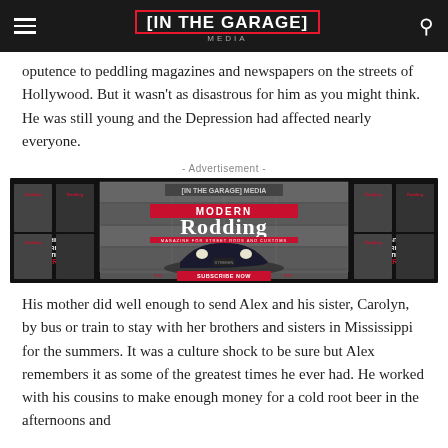[IN THE GARAGE] MEDIA
oputence to peddling magazines and newspapers on the streets of Hollywood. But it wasn't as disastrous for him as you might think. He was still young and the Depression had affected nearly everyone.
- Advertisement -
[Figure (photo): Advertisement for Modern Rodding magazine showing a vintage hot rod car in a garage setting, with print and digital subscription offers.]
His mother did well enough to send Alex and his sister, Carolyn, by bus or train to stay with her brothers and sisters in Mississippi for the summers. It was a culture shock to be sure but Alex remembers it as some of the greatest times he ever had. He worked with his cousins to make enough money for a cold root beer in the afternoons and